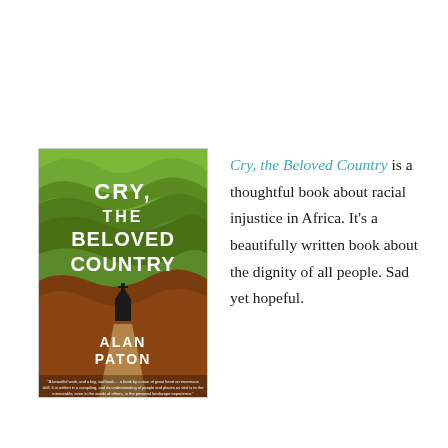[Figure (illustration): Book cover of 'Cry, the Beloved Country' by Alan Paton. Cover shows green rolling hills and brown/red earth with a small dark silhouette of a church or house. Title text in white block letters: CRY, THE BELOVED COUNTRY. Author name: ALAN PATON. Small blurb text at the bottom.]
Cry, the Beloved Country is a thoughtful book about racial injustice in Africa. It's a beautifully written book about the dignity of all people. Sad yet hopeful.